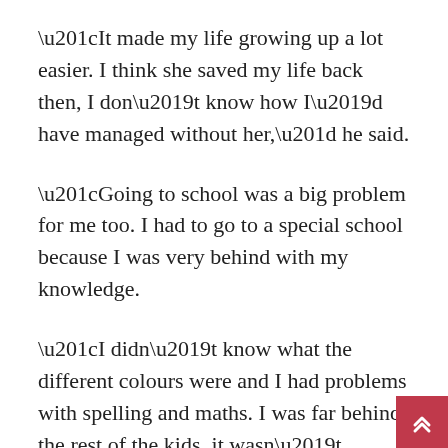“It made my life growing up a lot easier. I think she saved my life back then, I don’t know how I’d have managed without her,” he said.
“Going to school was a big problem for me too. I had to go to a special school because I was very behind with my knowledge.
“I didn’t know what the different colours were and I had problems with spelling and maths. I was far behind the rest of the kids, it wasn’t easy.”
But in time, Niki managed to catch up in his education and learned to speak the local